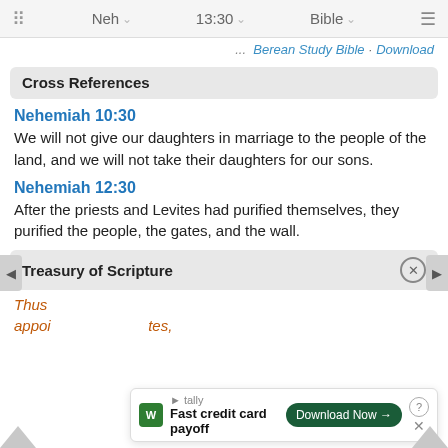Neh 13:30 Bible
Berean Study Bible · Download
Cross References
Nehemiah 10:30
We will not give our daughters in marriage to the people of the land, and we will not take their daughters for our sons.
Nehemiah 12:30
After the priests and Levites had purified themselves, they purified the people, the gates, and the wall.
Treasury of Scripture
Thus appointed, tes,